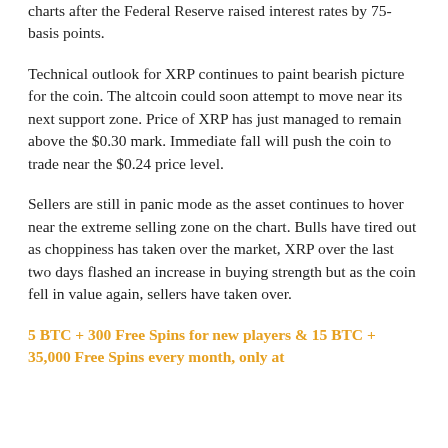charts after the Federal Reserve raised interest rates by 75-basis points.
Technical outlook for XRP continues to paint bearish picture for the coin. The altcoin could soon attempt to move near its next support zone. Price of XRP has just managed to remain above the $0.30 mark. Immediate fall will push the coin to trade near the $0.24 price level.
Sellers are still in panic mode as the asset continues to hover near the extreme selling zone on the chart. Bulls have tired out as choppiness has taken over the market, XRP over the last two days flashed an increase in buying strength but as the coin fell in value again, sellers have taken over.
5 BTC + 300 Free Spins for new players & 15 BTC + 35,000 Free Spins every month, only at